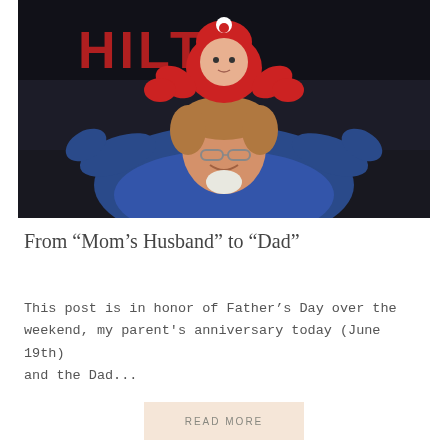[Figure (photo): A man smiling with a baby dressed in red sitting on his shoulders. The background shows a dark wall with a red logo reading 'HILTI'. The man is wearing glasses and a blue jacket.]
From “Mom’s Husband” to “Dad”
This post is in honor of Father’s Day over the weekend, my parent's anniversary today (June 19th) and the Dad...
READ MORE